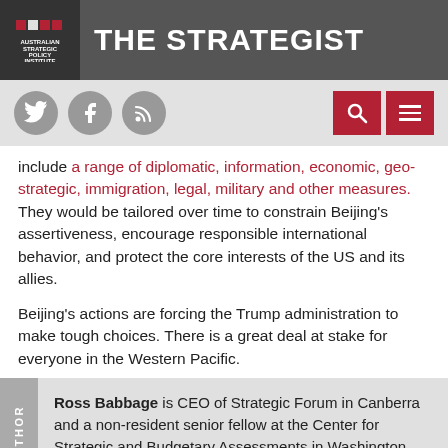THE STRATEGIST
include a range of diplomatic, information, economic, geo-strategic, immigration, legal, military and other measures. They would be tailored over time to constrain Beijing's assertiveness, encourage responsible international behavior, and protect the core interests of the US and its allies.
Beijing's actions are forcing the Trump administration to make tough choices. There is a great deal at stake for everyone in the Western Pacific.
Ross Babbage is CEO of Strategic Forum in Canberra and a non-resident senior fellow at the Center for Strategic and Budgetary Assessments in Washington DC. Image courtesy of Pixabay